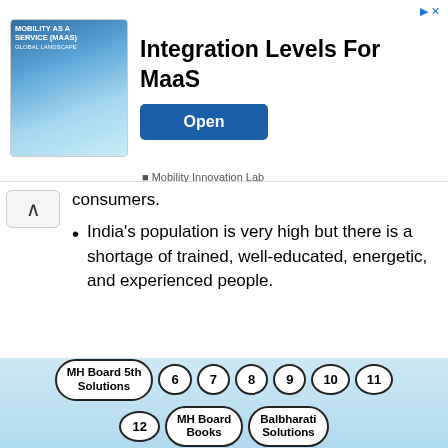[Figure (screenshot): Advertisement banner for 'Integration Levels For MaaS' by Mobility Innovation Lab with an Open button]
consumers.
India's population is very high but there is a shortage of trained, well-educated, energetic, and experienced people.
The technology used in industries is outdated and it affects production.
Lack of infrastructures like transportation, communication, sewage, water, and electric system available at a high cost, results in an
MH Board 5th Solutions  6  7  8  9  10  11  12  MH Board Books  Balbharati Solutions